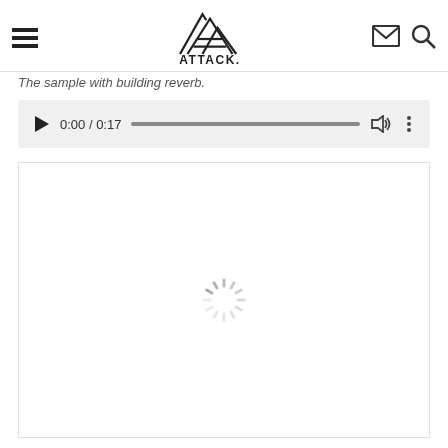[Figure (screenshot): Website header with hamburger menu icon on left, Attack. mountain logo in center, envelope/mail icon and search icon on right]
The sample with building reverb.
[Figure (screenshot): Audio player showing 0:00 / 0:17 with play button, progress bar, volume icon, and more options icon on a light grey background]
[Figure (screenshot): Embedded content area (white box with border) showing a loading spinner in the center]